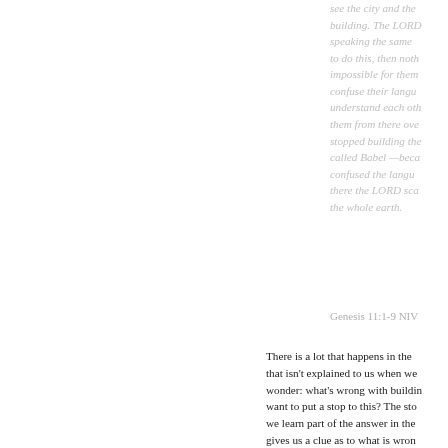see the city and the building. The LORD speaking the same to do this, then noth impossible for them confuse their langu understand each oth them from there ove stopped building the called Babel —beca confused the langu there the LORD sca the whole earth.
Genesis 11:1-9 NIV
There is a lot that happens in the that isn't explained to us when we wonder: what's wrong with buildin want to put a stop to this? The sto we learn part of the answer in the gives us a clue as to what is wron